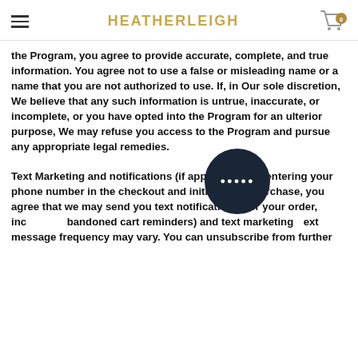HEATHERLEIGH
the Program, you agree to provide accurate, complete, and true information. You agree not to use a false or misleading name or a name that you are not authorized to use. If, in Our sole discretion, We believe that any such information is untrue, inaccurate, or incomplete, or you have opted into the Program for an ulterior purpose, We may refuse you access to the Program and pursue any appropriate legal remedies.
Text Marketing and notifications (if applicable): By entering your phone number in the checkout and initialising a purchase, you agree that we may send you text notifications (for your order, including abandoned cart reminders) and text marketing (text message frequency may vary. You can unsubscribe from further